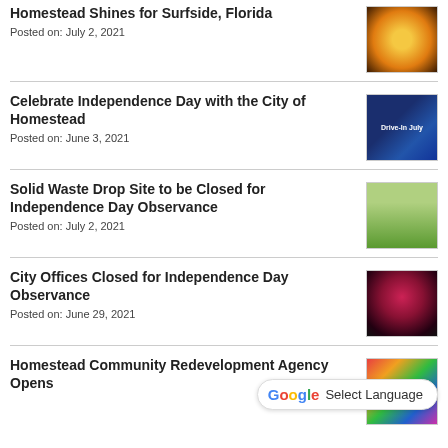Homestead Shines for Surfside, Florida
Posted on: July 2, 2021
[Figure (photo): Orange bokeh lights photo]
Celebrate Independence Day with the City of Homestead
Posted on: June 3, 2021
[Figure (photo): Drive-In July event promo image with text]
Solid Waste Drop Site to be Closed for Independence Day Observance
Posted on: July 2, 2021
[Figure (photo): Person near green waste bin outdoors]
City Offices Closed for Independence Day Observance
Posted on: June 29, 2021
[Figure (photo): Fireworks against dark sky]
Homestead Community Redevelopment Agency Opens
[Figure (photo): Colorful abstract/logo image]